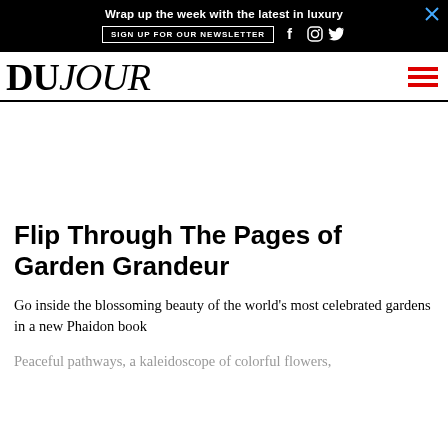[Figure (screenshot): Black advertisement banner with text 'Wrap up the week with the latest in luxury', a SIGN UP FOR OUR NEWSLETTER button, social media icons for Facebook, Instagram, and Twitter, and a close X button in the top right corner.]
DUJOUR
Flip Through The Pages of Garden Grandeur
Go inside the blossoming beauty of the world's most celebrated gardens in a new Phaidon book
Peaceful pathways, a kaleidoscope of colorful flowers,